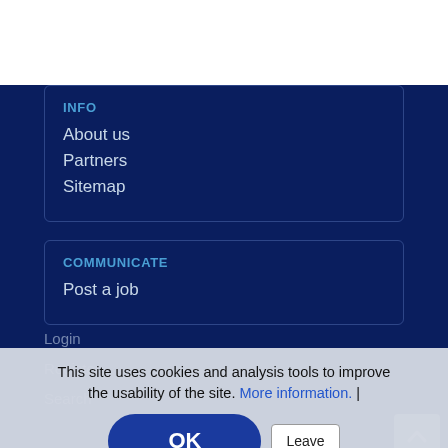INFO
About us
Partners
Sitemap
COMMUNICATE
Post a job
This site uses cookies and analysis tools to improve the usability of the site. More information. |
Login
Register
Search